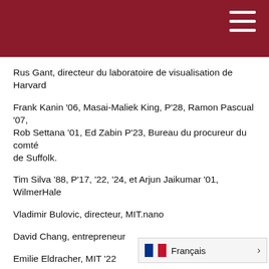Rus Gant, directeur du laboratoire de visualisation de Harvard
Frank Kanin '06, Masai-Maliek King, P'28, Ramon Pascual '07, Rob Settana '01, Ed Zabin P'23, Bureau du procureur du comté de Suffolk.
Tim Silva '88, P'17, '22, '24, et Arjun Jaikumar '01, WilmerHale
Vladimir Bulovic, directeur, MIT.nano
David Chang, entrepreneur
Emilie Eldracher, MIT '22
Ana Pantelic, directrice, MIT D-LAB
Ramesh Raskar, directeur du groupe "Camera Culture", MIT Media Lab
John Werner, 21 ans, 26 ans, Link Ve…